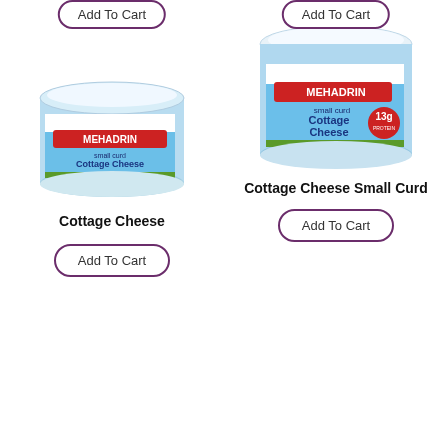[Figure (photo): Mehadrin small curd Cottage Cheese container, top-left product]
[Figure (photo): Mehadrin small curd Cottage Cheese Small Curd container, top-right product]
Cottage Cheese
Cottage Cheese Small Curd
Add To Cart
Add To Cart
Add To Cart
Add To Cart